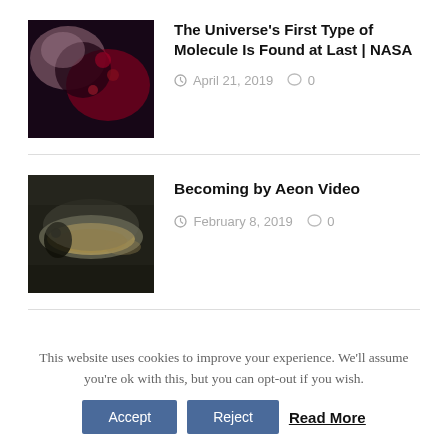[Figure (photo): A dark overhead photo showing what appears to be a petri dish or container with red and dark colorful elements, possibly biological samples.]
The Universe's First Type of Molecule Is Found at Last | NASA
April 21, 2019   0
[Figure (photo): A dark close-up photo of what appears to be a small aquatic creature or larva in a petri dish, seen from above.]
Becoming by Aeon Video
February 8, 2019   0
This website uses cookies to improve your experience. We'll assume you're ok with this, but you can opt-out if you wish.